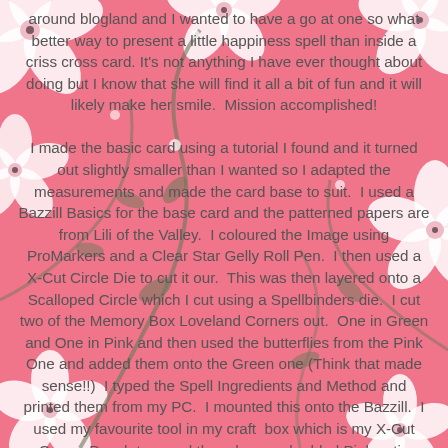[Figure (illustration): Pink floral background with white cherry blossoms and dark grey/green leaf/stem patterns]
around blogland and I wanted to have a go at one so what better way to present a little happiness spell than inside a criss cross card. It's not anything I have ever thought about doing but I know that she will find it all a bit of fun and it will likely make her smile.  Mission accomplished!

I made the basic card using a tutorial I found and it turned out slightly smaller than I wanted so I adapted the measurements and made the card base to suit.  I used a Bazzill Basics for the base card and the patterned papers are from Lili of the Valley.  I coloured the Image using ProMarkers and a Clear Star Gelly Roll Pen.  I then used a X-Cut Circle Die to cut it our.  This was then layered onto a Scalloped Circle which I cut using a Spellbinders die.  I cut two of the Memory Box Loveland Corners out.  One in Green and One in Pink and then used the butterflies from the Pink One and added them onto the Green one (Think that made sense!!)  I typed the Spell Ingredients and Method and printed them from my PC.  I mounted this onto the Bazzill.  I used my favourite tool in my craft  box which is my X-Cut Corner Punch to round the edges and added Pink satin bows.  I decorated the top edges with string Pearls and then